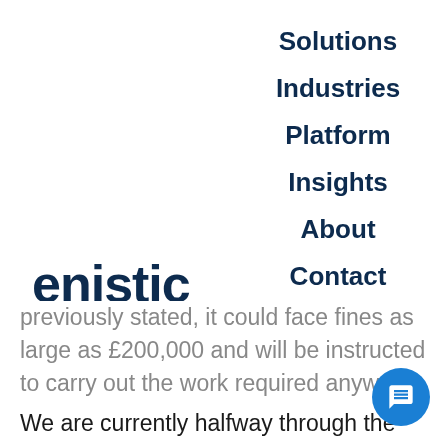[Figure (logo): Enistic carbon management logo — lowercase 'enistic' in dark navy bold sans-serif with 'carbon management' in small spaced capitals below]
Solutions
Industries
Platform
Insights
About
Contact
previously stated, it could face fines as large as £200,000 and will be instructed to carry out the work required anyway.

We are currently halfway through the